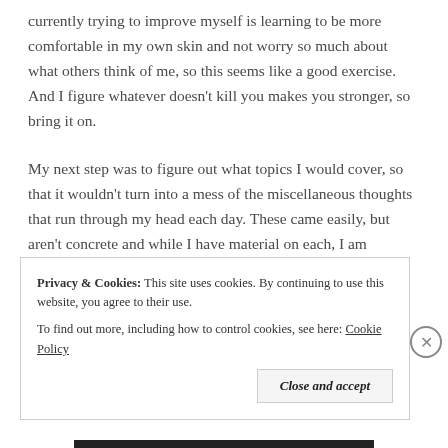currently trying to improve myself is learning to be more comfortable in my own skin and not worry so much about what others think of me, so this seems like a good exercise. And I figure whatever doesn't kill you makes you stronger, so bring it on.
My next step was to figure out what topics I would cover, so that it wouldn't turn into a mess of the miscellaneous thoughts that run through my head each day. These came easily, but aren't concrete and while I have material on each, I am definitely not an expert on any.
Privacy & Cookies: This site uses cookies. By continuing to use this website, you agree to their use. To find out more, including how to control cookies, see here: Cookie Policy